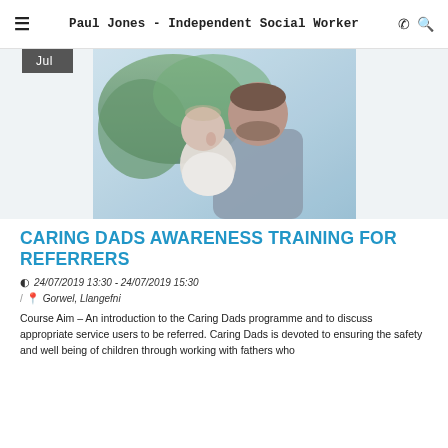≡  Paul Jones - Independent Social Worker  ☏ 🔍
[Figure (photo): Photo of a man holding a baby outdoors near green bushes, with a 'Jul' date badge overlay in the top-left corner of the image area.]
CARING DADS AWARENESS TRAINING FOR REFERRERS
24/07/2019 13:30 - 24/07/2019 15:30
Gorwel, Llangefni
Course Aim – An introduction to the Caring Dads programme and to discuss appropriate service users to be referred. Caring Dads is devoted to ensuring the safety and well being of children through working with fathers who